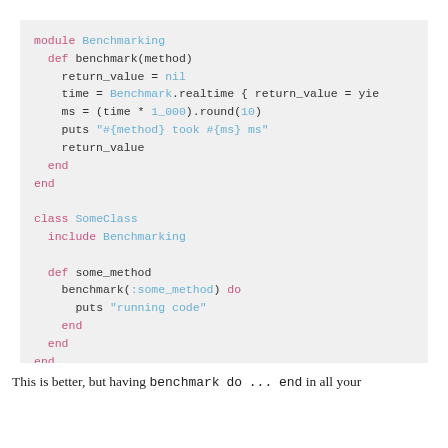[Figure (screenshot): Ruby code snippet showing a Benchmarking module with benchmark method, and a SomeClass that includes Benchmarking with some_method calling benchmark]
This is better, but having benchmark  do  ...  end in all your